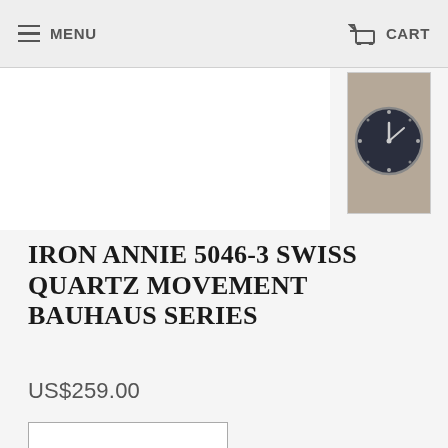MENU   CART
[Figure (photo): Thumbnail of Iron Annie 5046-3 watch face — dark navy blue dial with silver hour markers and hands, silver bezel]
[Figure (photo): Thumbnail of watch clasp/buckle — silver metal deployment clasp viewed from back]
[Figure (photo): Thumbnail of watch crown/winder — small silver crown detail]
IRON ANNIE 5046-3 SWISS QUARTZ MOVEMENT BAUHAUS SERIES
US$259.00